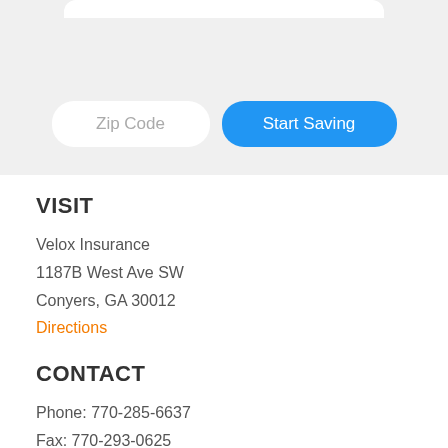[Figure (screenshot): Gray background UI section with a Zip Code input field and a blue 'Start Saving' button]
VISIT
Velox Insurance
1187B West Ave SW
Conyers, GA 30012
Directions
CONTACT
Phone: 770-285-6637
Fax: 770-293-0625
Email: conyers@veloxinsurance.com
HOURS